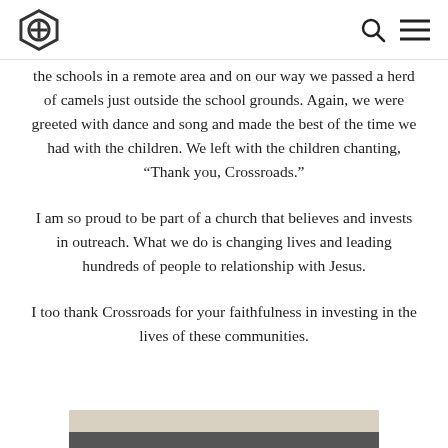[Crossroads logo] [Search icon] [Menu icon]
the schools in a remote area and on our way we passed a herd of camels just outside the school grounds. Again, we were greeted with dance and song and made the best of the time we had with the children. We left with the children chanting, “Thank you, Crossroads.”
I am so proud to be part of a church that believes and invests in outreach. What we do is changing lives and leading hundreds of people to relationship with Jesus.
I too thank Crossroads for your faithfulness in investing in the lives of these communities.
[Figure (photo): Partial view of a photograph at the bottom of the page, showing a light beige/tan upper strip and a dark grey lower strip, suggesting an outdoor or group scene.]